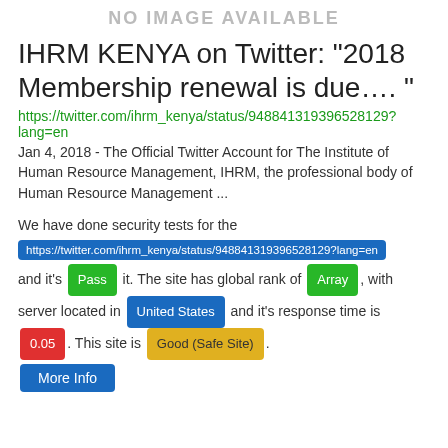[Figure (other): No image available placeholder banner]
IHRM KENYA on Twitter: "2018 Membership renewal is due…. "
https://twitter.com/ihrm_kenya/status/948841319396528129?lang=en
Jan 4, 2018 - The Official Twitter Account for The Institute of Human Resource Management, IHRM, the professional body of Human Resource Management ...
We have done security tests for the https://twitter.com/ihrm_kenya/status/948841319396528129?lang=en and it's Pass it. The site has global rank of Array , with server located in United States and it's response time is 0.05 . This site is Good (Safe Site) .